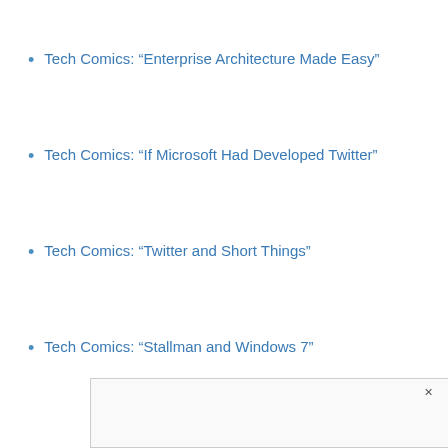Tech Comics: “Enterprise Architecture Made Easy”
Tech Comics: “If Microsoft Had Developed Twitter”
Tech Comics: “Twitter and Short Things”
Tech Comics: “Stallman and Windows 7”